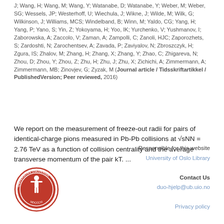J; Wang, H; Wang, M; Wang, Y; Watanabe, D; Watanabe, Y; Weber, M; Weber, SG; Wessels, JP; Westerhoff, U; Wiechula, J; Wikne, J; Wilde, M; Wilk, G; Wilkinson, J; Williams, MCS; Windelband, B; Winn, M; Yaldo, CG; Yang, H; Yang, P; Yano, S; Yin, Z; Yokoyama, H; Yoo, IK; Yurchenko, V; Yushmanov, I; Zaborowska, A; Zaccolo, V; Zaman, A; Zampolli, C; Zanoli, HJC; Zaporozhets, S; Zardoshti, N; Zarochentsev, A; Zavada, P; Zaviyalov, N; Zbroszczyk, H; Zgura, IS; Zhalov, M; Zhang, H; Zhang, X; Zhang, Y; Zhao, C; Zhigareva, N; Zhou, D; Zhou, Y; Zhou, Z; Zhu, H; Zhu, J; Zhu, X; Zichichi, A; Zimmermann, A; Zimmermann, MB; Zinovjev, G; Zyzak, M (Journal article / Tidsskriftartikkel / PublishedVersion; Peer reviewed, 2016)
We report on the measurement of freeze-out radii for pairs of identical-charge pions measured in Pb-Pb collisions at √sNN = 2.76 TeV as a function of collision centrality and the average transverse momentum of the pair kT. ...
[Figure (logo): University of Oslo circular seal/logo in red]
Responsible for this website University of Oslo Library Contact Us duo-hjelp@ub.uio.no Privacy policy